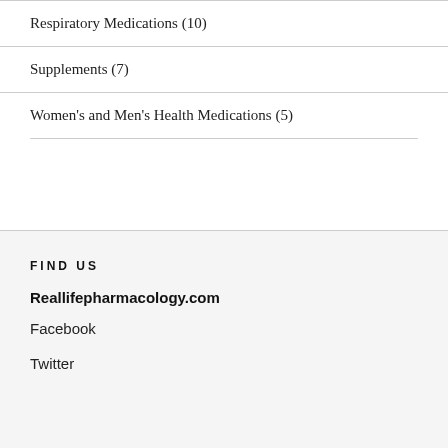Respiratory Medications (10)
Supplements (7)
Women's and Men's Health Medications (5)
FIND US
Reallifepharmacology.com
Facebook
Twitter